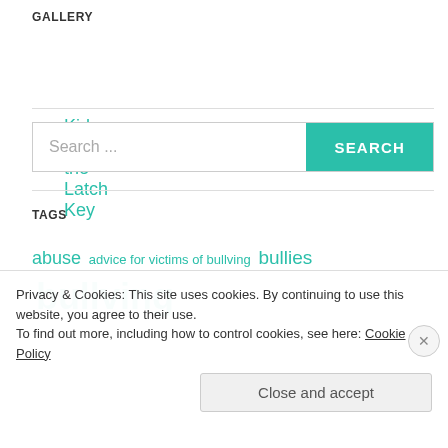GALLERY
Kids under the Latch Key
Search ...
TAGS
abuse  advice for victims of bullving  bullies  bullving
Privacy & Cookies: This site uses cookies. By continuing to use this website, you agree to their use.
To find out more, including how to control cookies, see here: Cookie Policy
Close and accept